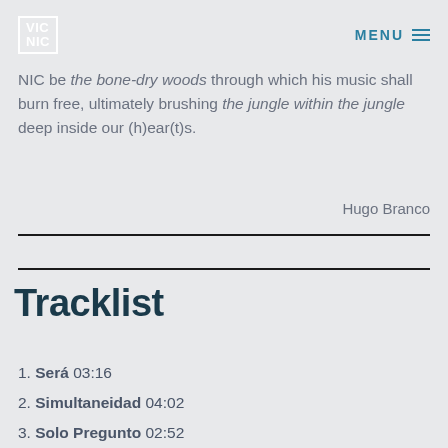VIC NIC | MENU
NIC be the bone-dry woods through which his music shall burn free, ultimately brushing the jungle within the jungle deep inside our (h)ear(t)s.
Hugo Branco
Tracklist
1. Será 03:16
2. Simultaneidad 04:02
3. Solo Pregunto 02:52